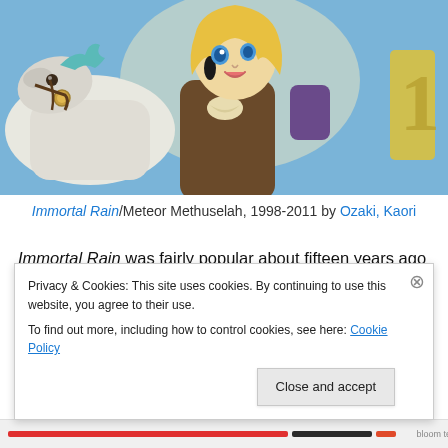[Figure (illustration): Manga/anime style illustration showing a blonde female character in a brown costume with a white horse, colorful background with purple and teal accents]
Immortal Rain/Meteor Methuselah, 1998-2011 by Ozaki, Kaori
Immortal Rain was fairly popular about fifteen years ago while Tokopop was publishing its volumes. However, once it went out of business access to the new volumes
Privacy & Cookies: This site uses cookies. By continuing to use this website, you agree to their use.
To find out more, including how to control cookies, see here: Cookie Policy